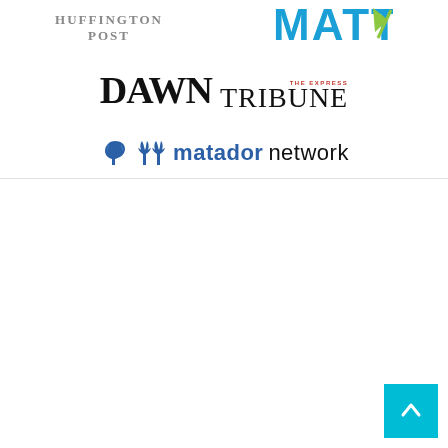[Figure (logo): Huffington Post logo - serif uppercase text in grey]
[Figure (logo): Matt logo - bold cyan/blue text with green arrow figure icon]
[Figure (logo): DAWN Tribune (The Express) logo - black serif text]
[Figure (logo): Matador Network logo - blue butterfly icon with blue and black text]